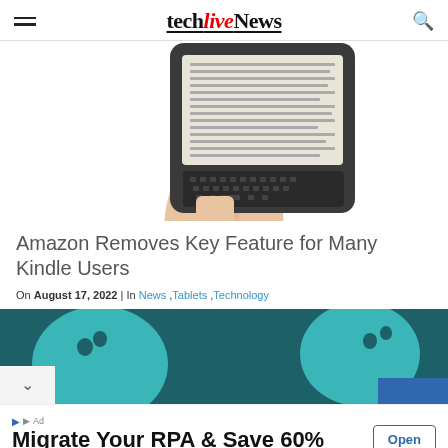techlivenews
[Figure (photo): A hand holding a Kindle e-reader device showing text on its e-ink screen, with a physical keyboard at the bottom]
Amazon Removes Key Feature for Many Kindle Users
On August 17, 2022 | In News ,Tablets ,Technology
[Figure (photo): Teal/turquoise colored game controllers or headphones on a dark teal background]
Migrate Your RPA & Save 60%